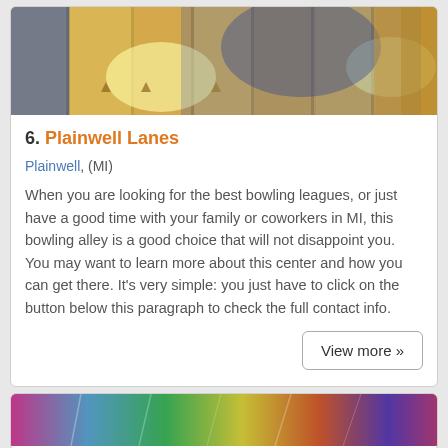[Figure (photo): Bowling alley lanes photo showing lanes with pins and a bowler in blue glove releasing ball]
6. Plainwell Lanes
Plainwell, (MI)
When you are looking for the best bowling leagues, or just have a good time with your family or coworkers in MI, this bowling alley is a good choice that will not disappoint you. You may want to learn more about this center and how you can get there. It's very simple: you just have to click on the button below this paragraph to check the full contact info.
View more »
[Figure (photo): Another bowling alley photo, colorful lanes]